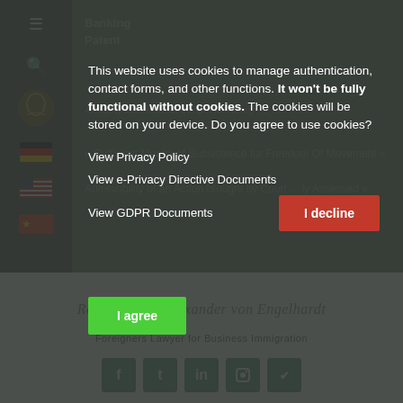This website uses cookies to manage authentication, contact forms, and other functions. It won't be fully functional without cookies. The cookies will be stored on your device. Do you agree to use cookies?
View Privacy Policy
View e-Privacy Directive Documents
View GDPR Documents
I decline
I agree
Rechtsanwalt Alexander von Engelhardt
Foreigners Lawyer for Business Immigration